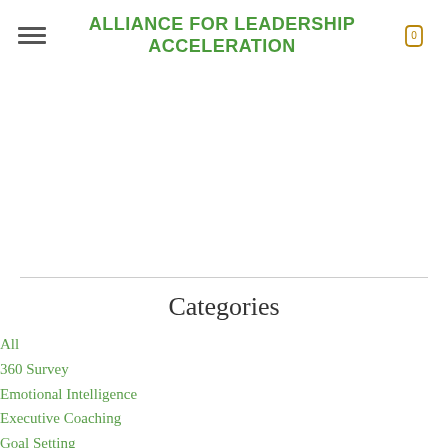ALLIANCE FOR LEADERSHIP ACCELERATION
Categories
All
360 Survey
Emotional Intelligence
Executive Coaching
Goal Setting
Leadership
Leadership Development
Management Consulting